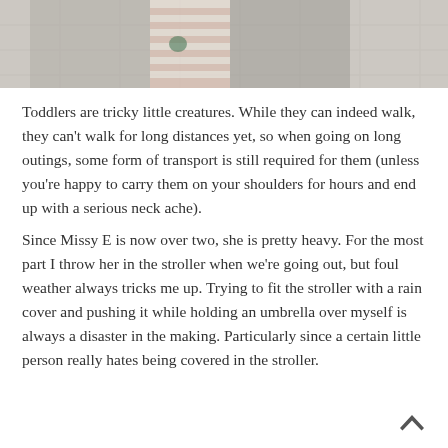[Figure (photo): A person holding a toddler, visible from mid-torso up. The child is wearing a striped outfit. Background appears to be a tiled wall. Image is cropped at the top.]
Toddlers are tricky little creatures. While they can indeed walk, they can't walk for long distances yet, so when going on long outings, some form of transport is still required for them (unless you're happy to carry them on your shoulders for hours and end up with a serious neck ache).
Since Missy E is now over two, she is pretty heavy. For the most part I throw her in the stroller when we're going out, but foul weather always tricks me up. Trying to fit the stroller with a rain cover and pushing it while holding an umbrella over myself is always a disaster in the making. Particularly since a certain little person really hates being covered in the stroller.